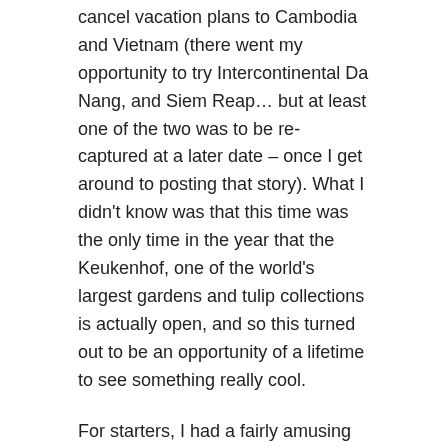cancel vacation plans to Cambodia and Vietnam (there went my opportunity to try Intercontinental Da Nang, and Siem Reap… but at least one of the two was to be re-captured at a later date – once I get around to posting that story). What I didn't know was that this time was the only time in the year that the Keukenhof, one of the world's largest gardens and tulip collections is actually open, and so this turned out to be an opportunity of a lifetime to see something really cool.
For starters, I had a fairly amusing rental experience. As usual, if there is Sixt in where I am going to, they automatically get my business, since they actually treat the Diamonds fairly well (it helps that it's an invite-only status). I emailed the branch ahead of time to see if they could set me up with a Maserati. They couldn't (they didn't even have any in Amsterdam), but they did promise they'd look around for something interesting. When I arrived at the counter, there was a bit of a lineup, and I didn't see any Diamond signs … so I went to the side and asked one of the non-agent people